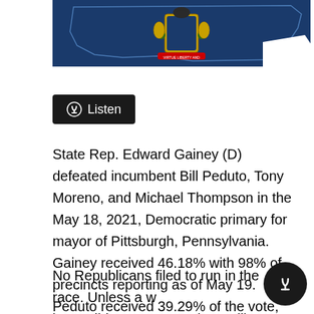[Figure (illustration): Pennsylvania state flag overlaid on the shape of Pennsylvania, showing the state coat of arms on a blue background]
Listen
State Rep. Edward Gainey (D) defeated incumbent Bill Peduto, Tony Moreno, and Michael Thompson in the May 18, 2021, Democratic primary for mayor of Pittsburgh, Pennsylvania. Gainey received 46.18% with 98% of precincts reporting as of May 19. Peduto received 39.29% of the vote, while Moreno and Thompson received 13.12% and 1.2% respectively.
No Republicans filed to run in the race. Unless a write-in candidate enters, Gainey will run unopposed in the